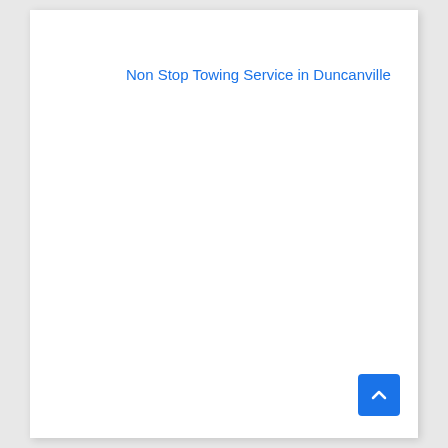Non Stop Towing Service in Duncanville
[Figure (other): Blue square scroll-to-top button with upward chevron arrow in the bottom-right corner of the page]